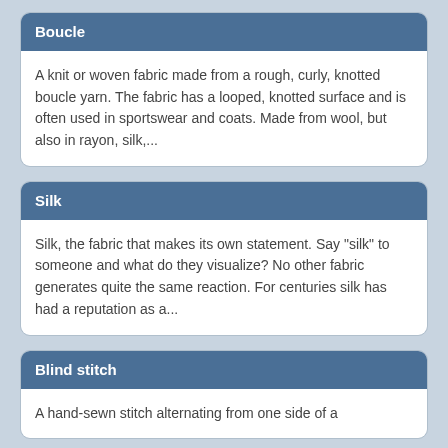Boucle
A knit or woven fabric made from a rough, curly, knotted boucle yarn. The fabric has a looped, knotted surface and is often used in sportswear and coats. Made from wool, but also in rayon, silk,...
Silk
Silk, the fabric that makes its own statement. Say "silk" to someone and what do they visualize? No other fabric generates quite the same reaction. For centuries silk has had a reputation as a...
Blind stitch
A hand-sewn stitch alternating from one side of a